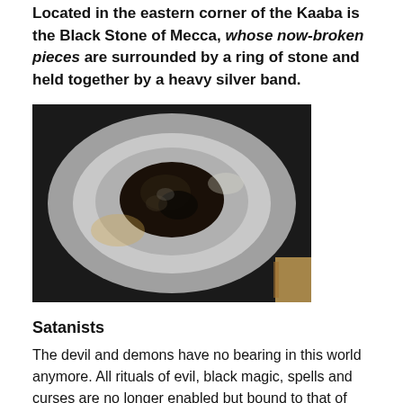Located in the eastern corner of the Kaaba is the Black Stone of Mecca, whose now-broken pieces are surrounded by a ring of stone and held together by a heavy silver band.
[Figure (photo): Close-up photograph of the Black Stone of Mecca, showing dark stone fragments encased in a silver/metallic oval setting, viewed from the front.]
Satanists
The devil and demons have no bearing in this world anymore. All rituals of evil, black magic, spells and curses are no longer enabled but bound to that of the deliver of such. Powerless weak and a nonentity thou play a game